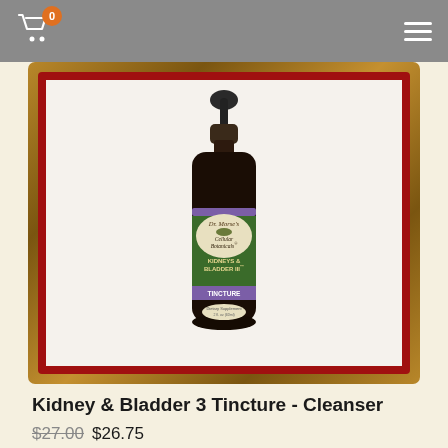[Figure (screenshot): Navigation bar with shopping cart icon (badge showing 0) and hamburger menu icon on gray background]
[Figure (photo): Dr. Morse's Cellular Botanicals Kidneys & Bladder III Tincture - dark amber glass dropper bottle with purple and green label, shown inside an ornate brown/gold picture frame with red inner border]
Kidney & Bladder 3 Tincture - Cleanser
$27.00 $26.75